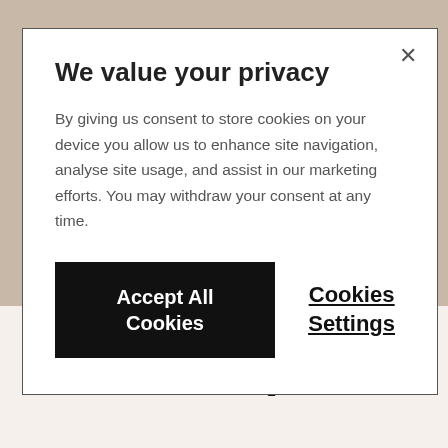We value your privacy
By giving us consent to store cookies on your device you allow us to enhance site navigation, analyse site usage, and assist in our marketing efforts. You may withdraw your consent at any time.
Accept All Cookies
Cookies Settings
GUIDED BY MUSIC
EARTH (EKA